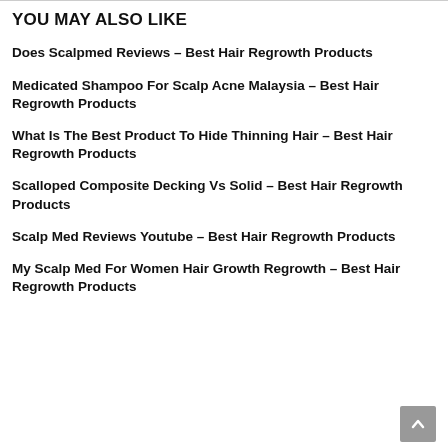YOU MAY ALSO LIKE
Does Scalpmed Reviews – Best Hair Regrowth Products
Medicated Shampoo For Scalp Acne Malaysia – Best Hair Regrowth Products
What Is The Best Product To Hide Thinning Hair – Best Hair Regrowth Products
Scalloped Composite Decking Vs Solid – Best Hair Regrowth Products
Scalp Med Reviews Youtube – Best Hair Regrowth Products
My Scalp Med For Women Hair Growth Regrowth – Best Hair Regrowth Products